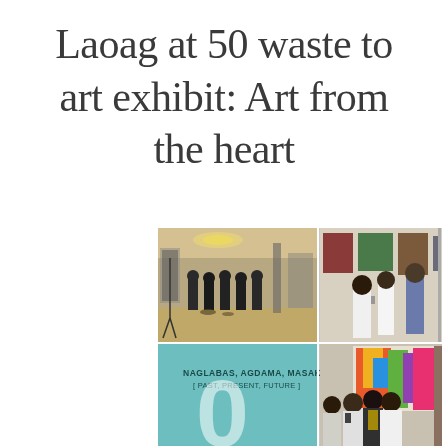Laoag at 50 waste to art exhibit: Art from the heart
[Figure (photo): Photo collage of an art exhibit event: top-left shows people standing in a gallery hall with display frames; top-right shows visitors viewing artworks on walls; bottom-left shows a teal/turquoise exhibit poster reading 'Naglabas, Agdama, Masakbayan [Past, Present, Future]' with a large '0' numeral; bottom-right shows a group of visitors from behind looking at colorful artwork on the wall.]